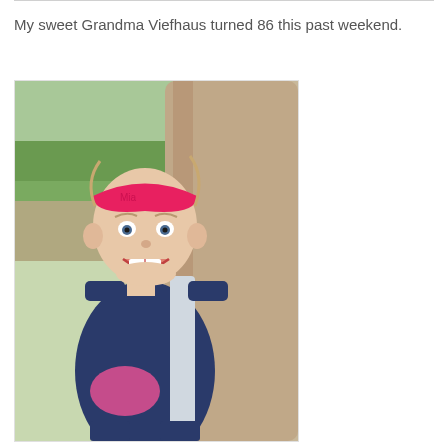My sweet Grandma Viefhaus turned 86 this past weekend.
[Figure (photo): A young girl smiling, seated in the back seat of a car, wearing a pink headband and a navy blue sleeveless Panthers sports jersey with a seatbelt across her. Trees and a road are visible through the car window behind her.]